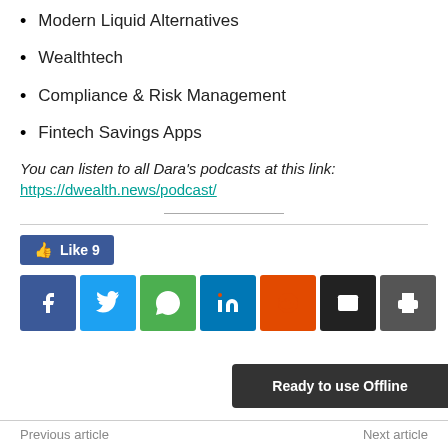Modern Liquid Alternatives
Wealthtech
Compliance & Risk Management
Fintech Savings Apps
You can listen to all Dara's podcasts at this link:
https://dwealth.news/podcast/
Like 9
Share buttons: Facebook, Twitter, WhatsApp, LinkedIn, Reddit, Email, Print
Ready to use Offline
Previous article   Next article